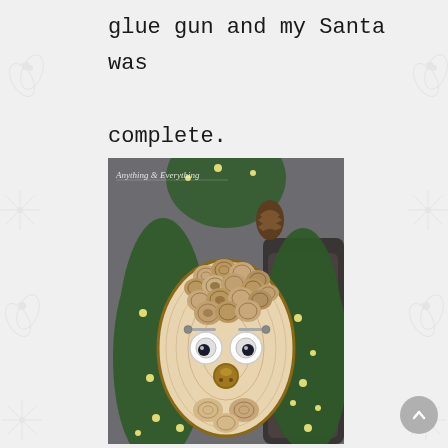glue gun and my Santa was complete.
[Figure (photo): A handmade Santa Claus decoration made from a large oval wood slice as the face, with small wood slice discs arranged as hair/beard on top, two bolt/screw eyebrows, large googly eyes, a brown button nose, and small wood slices for a mustache/beard area. The piece is surrounded by green Christmas foliage with fairy lights and a pine cone visible. A watermark reading 'Anything & Everything' appears in the upper left of the photo. A dark leather sofa is visible in the background.]